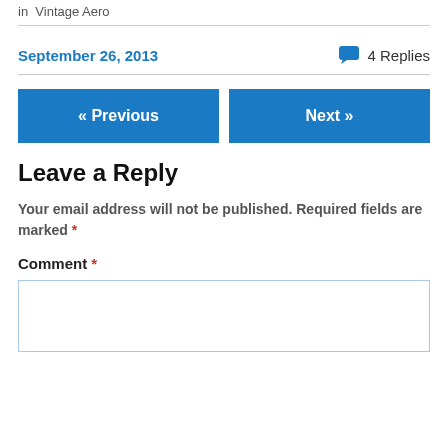in  Vintage Aero
September 26, 2013
4 Replies
« Previous
Next »
Leave a Reply
Your email address will not be published. Required fields are marked *
Comment *